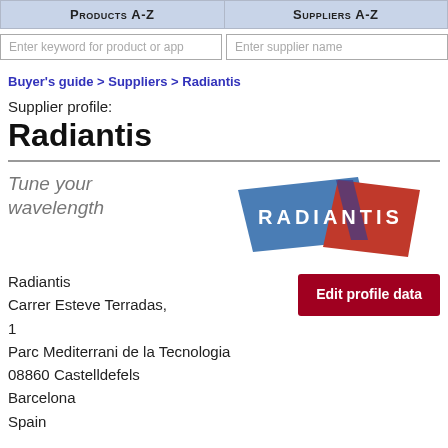Products A-Z | Suppliers A-Z
Enter keyword for product or app | Enter supplier name
Buyer's guide > Suppliers > Radiantis
Supplier profile:
Radiantis
Tune your wavelength
[Figure (logo): Radiantis logo with blue and red trapezoid shapes and white text spelling RADIANTIS]
Radiantis
Carrer Esteve Terradas, 1
Parc Mediterrani de la Tecnologia
08860 Castelldefels
Barcelona
Spain
Edit profile data